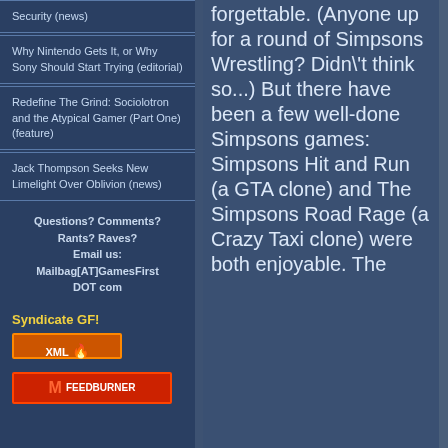Security (news)
Why Nintendo Gets It, or Why Sony Should Start Trying (editorial)
Redefine The Grind: Sociolotron and the Atypical Gamer (Part One) (feature)
Jack Thompson Seeks New Limelight Over Oblivion (news)
Questions? Comments? Rants? Raves? Email us: Mailbag[AT]GamesFirst DOT com
Syndicate GF!
[Figure (logo): XML badge with flame icon]
[Figure (logo): FeedBurner badge with M logo]
forgettable. (Anyone up for a round of Simpsons Wrestling? Didn\'t think so...) But there have been a few well-done Simpsons games: Simpsons Hit and Run (a GTA clone) and The Simpsons Road Rage (a Crazy Taxi clone) were both enjoyable. The